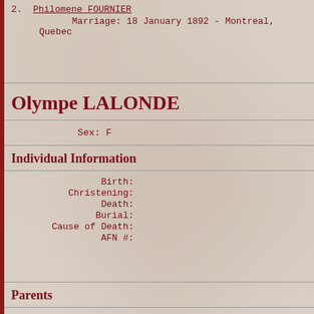2.  Philomene FOURNIER
        Marriage: 18 January 1892 - Montreal, Quebec
Olympe LALONDE
Sex: F
Individual Information
Birth:
Christening:
Death:
Burial:
Cause of Death:
AFN #:
Parents
Father: Jean Bpt. LALONDE